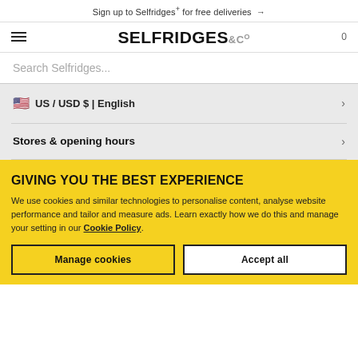Sign up to Selfridges+ for free deliveries →
[Figure (logo): Selfridges & Co logo with hamburger menu and cart count 0]
Search Selfridges...
🇺🇸 US / USD $ | English
Stores & opening hours
GIVING YOU THE BEST EXPERIENCE
We use cookies and similar technologies to personalise content, analyse website performance and tailor and measure ads. Learn exactly how we do this and manage your setting in our Cookie Policy.
Manage cookies
Accept all